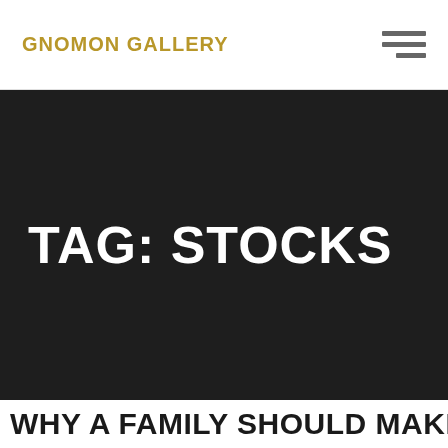GNOMON GALLERY
TAG: STOCKS
WHY A FAMILY SHOULD MAKE